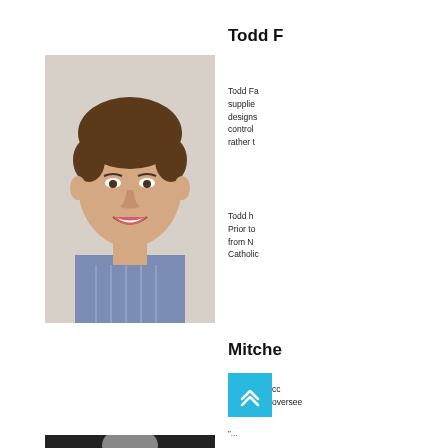[Figure (photo): Headshot of a smiling young man with brown hair wearing a blue striped dress shirt, light background]
Todd F
Todd Fa supplier designs control rather t
Todd ha Prior to from N Catholic
Mitche
cc oversee
[Figure (photo): Black and white photo of a person, partially visible at bottom of page]
[Figure (other): Cyan/teal scroll-to-top button with double chevron up arrow icon]